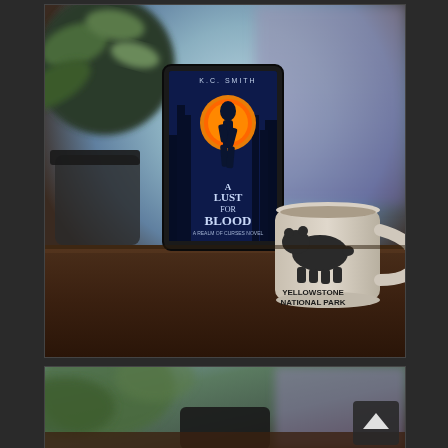[Figure (photo): Top photo: A Kindle e-reader displaying the book cover of 'A Lust for Blood: A Realm of Curses Novel' by K.C. Smith, showing a dark blue fantasy cover with a figure silhouetted against an orange full moon. The Kindle is propped on a dark wooden table next to a cream-colored Yellowstone National Park coffee mug with a black bear silhouette. A green plant and dark mug are visible in the background.]
[Figure (photo): Bottom photo (partial, cropped): Same scene from a slightly different angle or second photo, showing the bottom portion — the Kindle e-reader and green plant foliage visible, with a scroll-to-top button overlay in the bottom-right corner.]